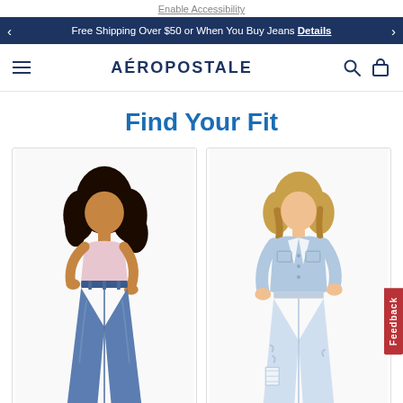Enable Accessibility
Free Shipping Over $50 or When You Buy Jeans   Details
AÉROPOSTALE
Find Your Fit
[Figure (photo): Two female fashion models wearing Aéropostale jeans. Left model wears high-waisted wide-leg blue jeans and a pink crop top. Right model wears light wash distressed jeans and a denim jacket over a white crop top.]
Feedback